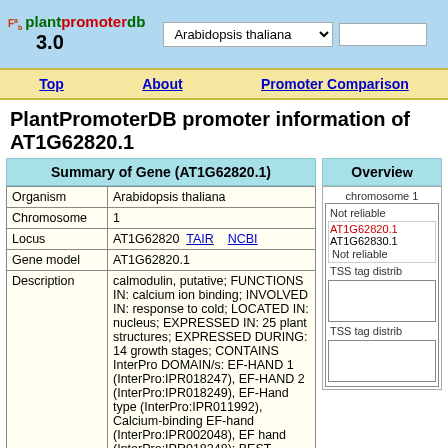plantpromoterdb 3.0 — Arabidopsis thaliana
PlantPromoterDB promoter information of AT1G62820.1
Summary of Gene (AT1G62820.1)
Overview
| Field | Value |
| --- | --- |
| Organism | Arabidopsis thaliana |
| Chromosome | 1 |
| Locus | AT1G62820  TAIR    NCBI |
| Gene model | AT1G62820.1 |
| Description | calmodulin, putative; FUNCTIONS IN: calcium ion binding; INVOLVED IN: response to cold; LOCATED IN: nucleus; EXPRESSED IN: 25 plant structures; EXPRESSED DURING: 14 growth stages; CONTAINS InterPro DOMAIN/s: EF-HAND 1 (InterPro:IPR018247), EF-HAND 2 (InterPro:IPR018249), EF-Hand type (InterPro:IPR011992), Calcium-binding EF-hand (InterPro:IPR002048), EF hand (InterPro:IPR018248); BEST Arabidopsis thaliana protein match is: calmodulin, putative (TAIR:AT1G12310.1); Has 12799 Blast hits to 10828 proteins in 1248 species: Archae - 0; Bacteria - 22; Metazoa - 5376; Fungi - 3677; Plants - 2002; Viruses - 0; Other Eukaryotes - |